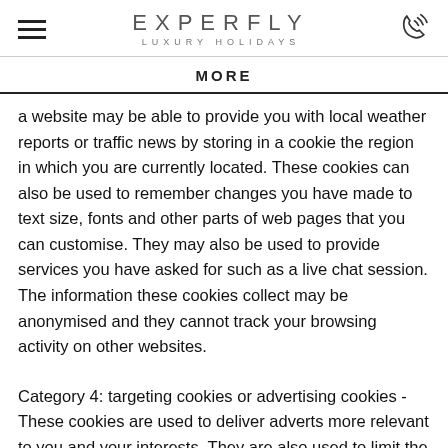EXPERFLY LUXURY HOLIDAYS
MORE
a website may be able to provide you with local weather reports or traffic news by storing in a cookie the region in which you are currently located. These cookies can also be used to remember changes you have made to text size, fonts and other parts of web pages that you can customise. They may also be used to provide services you have asked for such as a live chat session. The information these cookies collect may be anonymised and they cannot track your browsing activity on other websites.
Category 4: targeting cookies or advertising cookies - These cookies are used to deliver adverts more relevant to you and your interests. They are also used to limit the